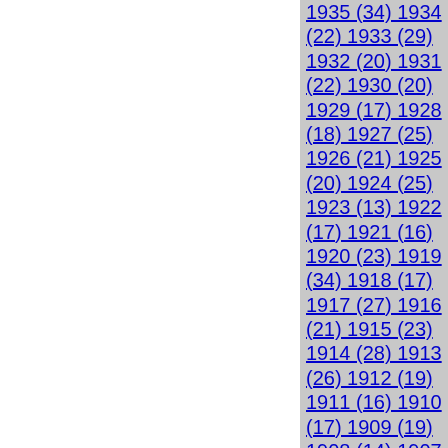1935 (34) 1934 (22) 1933 (29) 1932 (20) 1931 (22) 1930 (20) 1929 (17) 1928 (18) 1927 (25) 1926 (21) 1925 (20) 1924 (25) 1923 (13) 1922 (17) 1921 (16) 1920 (23) 1919 (34) 1918 (17) 1917 (27) 1916 (21) 1915 (23) 1914 (28) 1913 (26) 1912 (19) 1911 (16) 1910 (17) 1909 (19) 1908 (14) 1907 (11) 1906 (15) 1905 (13) 1904 (9) 1903 (11) 1902 (18) 1901 (18) 1900 (11) 1899 (11) 1898 (11) 1897 (11)